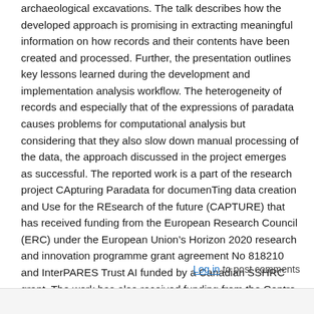archaeological excavations. The talk describes how the developed approach is promising in extracting meaningful information on how records and their contents have been created and processed. Further, the presentation outlines key lessons learned during the development and implementation analysis workflow. The heterogeneity of records and especially that of the expressions of paradata causes problems for computational analysis but considering that they also slow down manual processing of the data, the approach discussed in the project emerges as successful. The reported work is a part of the research project CApturing Paradata for documenTing data creation and Use for the REsearch of the future (CAPTURE) that has received funding from the European Research Council (ERC) under the European Union’s Horizon 2020 research and innovation programme grant agreement No 818210 and InterPARES Trust AI funded by a Canadian SSHRC grant. The work has also received funding from the Centre for Digital Humanities Uppsala (CDHU) pilot project scheme.
Log in to post comments